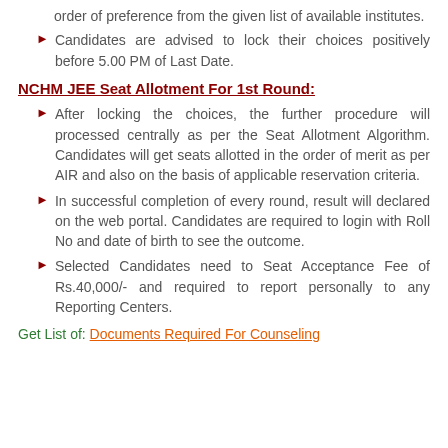order of preference from the given list of available institutes.
Candidates are advised to lock their choices positively before 5.00 PM of Last Date.
NCHM JEE Seat Allotment For 1st Round:
After locking the choices, the further procedure will processed centrally as per the Seat Allotment Algorithm. Candidates will get seats allotted in the order of merit as per AIR and also on the basis of applicable reservation criteria.
In successful completion of every round, result will declared on the web portal. Candidates are required to login with Roll No and date of birth to see the outcome.
Selected Candidates need to Seat Acceptance Fee of Rs.40,000/- and required to report personally to any Reporting Centers.
Get List of: Documents Required For Counseling